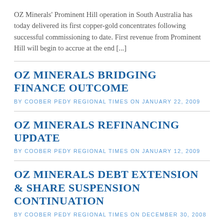OZ Minerals' Prominent Hill operation in South Australia has today delivered its first copper-gold concentrates following successful commissioning to date. First revenue from Prominent Hill will begin to accrue at the end [...]
OZ MINERALS BRIDGING FINANCE OUTCOME
BY COOBER PEDY REGIONAL TIMES ON JANUARY 22, 2009
OZ MINERALS REFINANCING UPDATE
BY COOBER PEDY REGIONAL TIMES ON JANUARY 12, 2009
OZ MINERALS DEBT EXTENSION & SHARE SUSPENSION CONTINUATION
BY COOBER PEDY REGIONAL TIMES ON DECEMBER 30, 2008